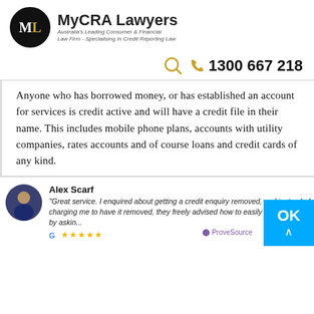[Figure (logo): MyCRA Lawyers logo with circular ML emblem and text 'MyCRA Lawyers - Australia's Leading Consumer & Financial Law Firm - Specialising In Credit Reporting Law']
1300 667 218
Anyone who has borrowed money, or has established an account for services is credit active and will have a credit file in their name. This includes mobile phone plans, accounts with utility companies, rates accounts and of course loans and credit cards of any kind.
Alex Scarf
"Great service. I enquired about getting a credit enquiry removed, and instead of charging me to have it removed, they freely advised how to easily get it removed by askin..."
Google ★★★★★  ProveSource